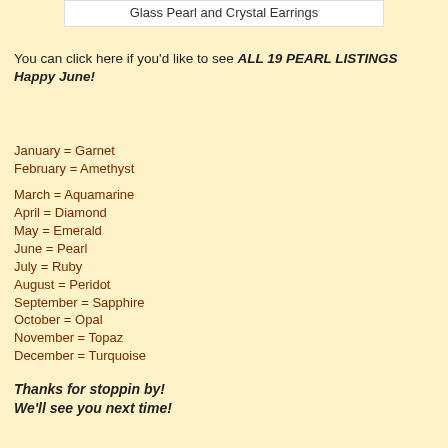Glass Pearl and Crystal Earrings
You can click here if you'd like to see ALL 19 PEARL LISTINGS Happy June!
January = Garnet
February = Amethyst
March = Aquamarine
April = Diamond
May = Emerald
June = Pearl
July = Ruby
August = Peridot
September = Sapphire
October = Opal
November = Topaz
December = Turquoise
Thanks for stoppin by! We'll see you next time!